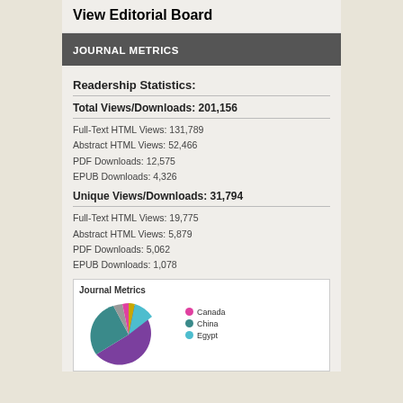View Editorial Board
JOURNAL METRICS
Readership Statistics:
Total Views/Downloads: 201,156
Full-Text HTML Views: 131,789
Abstract HTML Views: 52,466
PDF Downloads: 12,575
EPUB Downloads: 4,326
Unique Views/Downloads: 31,794
Full-Text HTML Views: 19,775
Abstract HTML Views: 5,879
PDF Downloads: 5,062
EPUB Downloads: 1,078
[Figure (pie-chart): Pie chart showing Journal Metrics readership by country including Canada, China, Egypt and others]